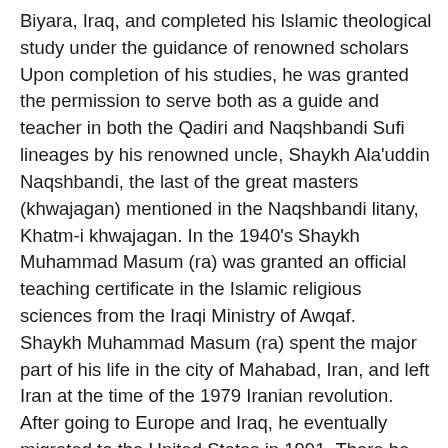Biyara, Iraq, and completed his Islamic theological study under the guidance of renowned scholars Upon completion of his studies, he was granted the permission to serve both as a guide and teacher in both the Qadiri and Naqshbandi Sufi lineages by his renowned uncle, Shaykh Ala'uddin Naqshbandi, the last of the great masters (khwajagan) mentioned in the Naqshbandi litany, Khatm-i khwajagan. In the 1940's Shaykh Muhammad Masum (ra) was granted an official teaching certificate in the Islamic religious sciences from the Iraqi Ministry of Awqaf. Shaykh Muhammad Masum (ra) spent the major part of his life in the city of Mahabad, Iran, and left Iran at the time of the 1979 Iranian revolution. After going to Europe and Iraq, he eventually migrated to the United States in 1991. There he continued to inspire, educate, and inform people about the universal message of Islam to the end of his days as an esteemed spiritual guide. Shaykh Muhammad Masum (ra) was the spiritual guide of the Naqshbandiyya Foundation for Islamic Education (NFIE) for several years. As a highly influential spiritual guide and Islamic scholar renowned for his depth of spiritual wisdom, Shaykh Muhammad Masum (ra) radiated a sincere, humble, and uncompromising piety